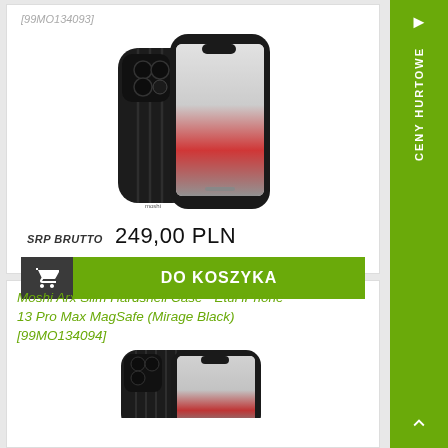[99MO134093]
[Figure (photo): Moshi iPhone case (black ribbed hardshell) shown from back and front at an angle on iPhone 13 Pro Max]
SRP BRUTTO  249,00 PLN
DO KOSZYKA
Moshi Arx Slim Hardshell Case - Etui iPhone 13 Pro Max MagSafe (Mirage Black) [99MO134094]
[Figure (photo): Moshi iPhone case (black hardshell) shown from back and front at an angle on iPhone 13 Pro Max, partially visible]
CENY HURTOWE